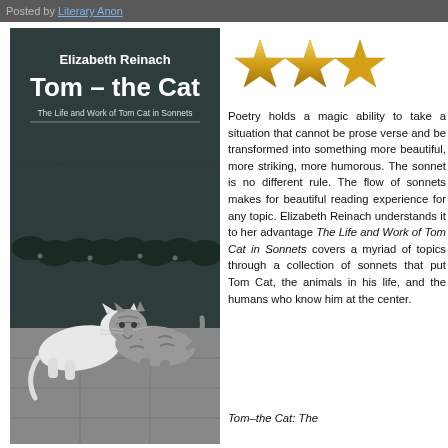Posted by Literary Anon
[Figure (illustration): Book cover of 'Tom – the Cat: The Life and Work of Tom Cat in Sonnets' by Elizabeth Reinach, featuring illustrated cats fighting on a stone wall background]
[Figure (illustration): Three gold star rating icons]
Poetry holds a mag... a situation that can... verse and be tra... more beautiful, mo... humorous. The son... rule. The flow of... beautiful reading e... topic. Elizabeth Rei... it to her advantage... and Work of Tom C... a myriad of topics... collection of sonnets... the animals in his... humans who know h...
Tom–the Cat: The...